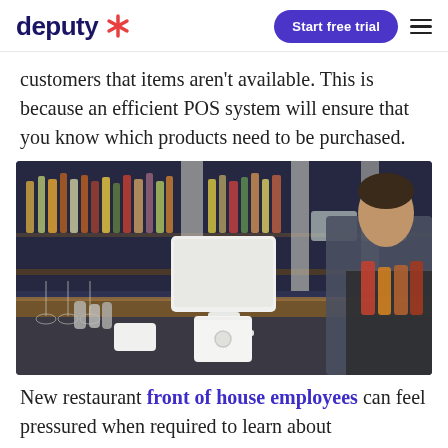deputy [logo] | Start free trial | [menu]
customers that items aren't available. This is because an efficient POS system will ensure that you know which products need to be purchased.
[Figure (photo): A bartender working behind a bar counter with a white POS tablet system and card reader on the counter, bottles of liquor on shelves in the background.]
New restaurant front of house employees can feel pressured when required to learn about